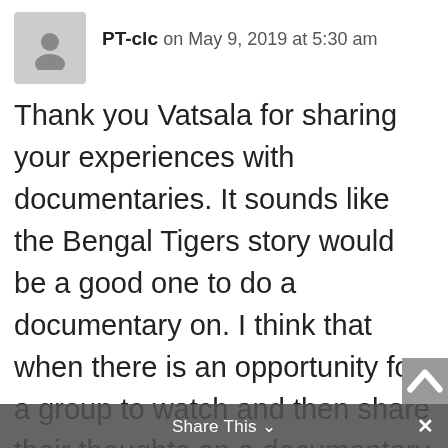[Figure (illustration): Generic user avatar placeholder icon in a grey rounded rectangle]
PT-clc on May 9, 2019 at 5:30 am
Thank you Vatsala for sharing your experiences with documentaries. It sounds like the Bengal Tigers story would be a good one to do a documentary on. I think that when there is an opportunity for a group to watch and then share their thoughts on a documentary that it can be quite powerful and more impactful than watching one on your own
[Figure (other): Scroll-to-top button, grey square with upward chevron arrow]
Share This ∨  ×